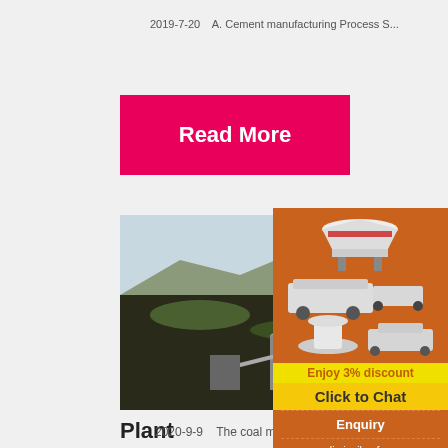2019-7-20    A. Cement manufacturing Process S...
Read More
[Figure (photo): Aerial view of a mining/cement plant facility with industrial buildings, conveyor belts, and rocky terrain with mountains in background]
Plant
2020-9-9    The coal mill grinding system
[Figure (photo): Advertisement sidebar showing industrial crushing/milling machines on orange background with 'Enjoy 3% discount', 'Click to Chat', 'Enquiry', and 'limingjlmofen@sina.com']